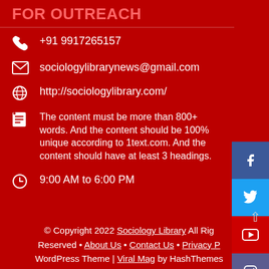FOR OUTREACH
+91 9917265157
sociologylibrarynews@gmail.com
http://sociologylibrary.com/
The content must be more than 800+ words. And the content should be 100% unique according to 1text.com. And the content should have at least 3 headings.
9:00 AM to 6:00 PM
© Copyright 2022 Sociology Library All Rights Reserved • About Us • Contact Us • Privacy Policy WordPress Theme | Viral Mag by HashThemes